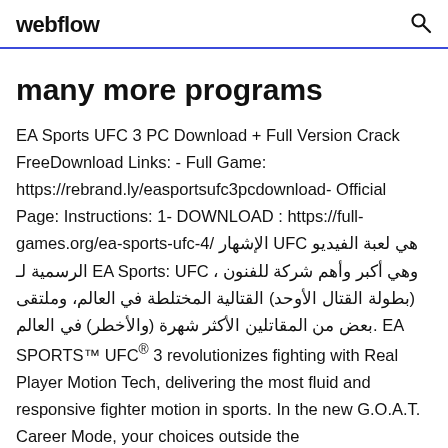webflow
many more programs
EA Sports UFC 3 PC Download + Full Version Crack FreeDownload Links: - Full Game: https://rebrand.ly/easportsufc3pcdownload- Official Page: Instructions: 1- DOWNLOAD : https://full-games.org/ea-sports-ufc-4/ الإشهار UFC هي لعبة الفيديو الرسمية لـ EA Sports: UFC وهي أكبر وأهم شركة للفنون ،(بطولة القتال الأوحد) القتالية المختلطة في العالم، وملتقى بعض من المقاتلين الأكثر شهرة (والأخطر) في العالم. EA SPORTS™ UFC® 3 revolutionizes fighting with Real Player Motion Tech, delivering the most fluid and responsive fighter motion in sports. In the new G.O.A.T. Career Mode, your choices outside the